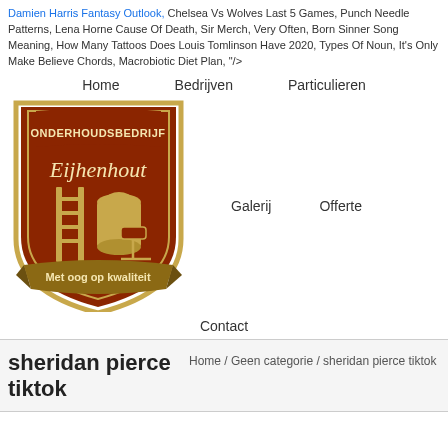Damien Harris Fantasy Outlook, Chelsea Vs Wolves Last 5 Games, Punch Needle Patterns, Lena Horne Cause Of Death, Sir Merch, Very Often, Born Sinner Song Meaning, How Many Tattoos Does Louis Tomlinson Have 2020, Types Of Noun, It's Only Make Believe Chords, Macrobiotic Diet Plan, "/>
Home   Bedrijven   Particulieren
[Figure (logo): Shield-shaped logo for Onderhoudsbedrijf Eijhenhout with tools (ladder, paint roller, brush) and banner reading 'Met oog op kwaliteit']
Galerij   Offerte
Contact
sheridan pierce tiktok
Home / Geen categorie / sheridan pierce tiktok